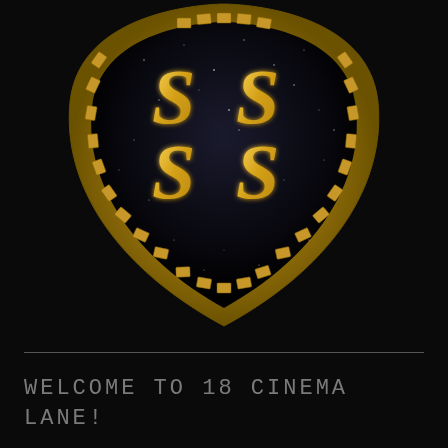[Figure (logo): Shield/heart shaped logo with gold film-strip border on black starry background, featuring four golden swirl/spiral 'S' letters arranged in a 2x2 grid inside the shield]
WELCOME TO 18 CINEMA LANE!